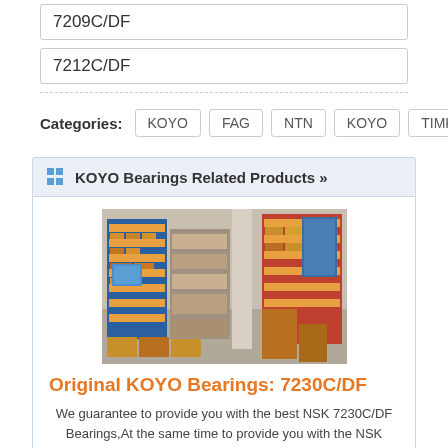7209C/DF
7212C/DF
Categories: KOYO FAG NTN KOYO TIMKEN
KOYO Bearings Related Products »
[Figure (photo): Warehouse with industrial shelving racks stocked with bearing products and boxes]
Original KOYO Bearings: 7230C/DF
We guarantee to provide you with the best NSK 7230C/DF Bearings,At the same time to provide you with the NSK 7230C/DF types,price,size chart,cross reference,CAD.